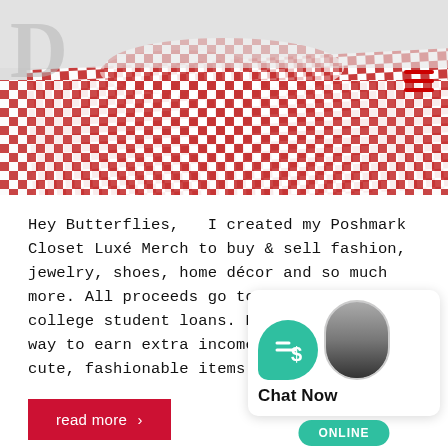[Figure (photo): Red and white gingham/checkered fabric filling the top portion of the page, with a large faded letter D watermark on the left and a red hamburger menu icon on the top right.]
Hey Butterflies,   I created my Poshmark Closet Luxé Merch to buy & sell fashion, jewelry, shoes, home décor and so much more. All proceeds go towards paying off college student loans. Poshmark is a fun way to earn extra income and find some cute, fashionable items. The merch that…
read more ›
SEARCH THE WEBSITE
[Figure (other): Chat widget with a teal speech bubble containing a dollar sign with horizontal lines, a person avatar in a rounded bubble, a white Chat Now label box, and a teal ONLINE button below.]